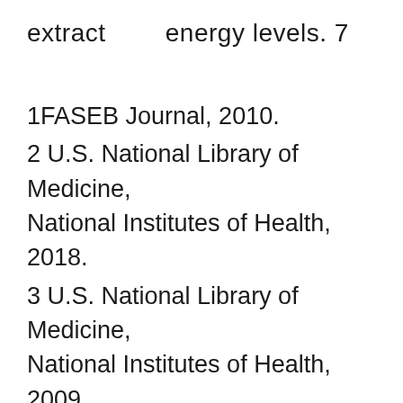extract        energy levels. 7
1FASEB Journal, 2010.
2 U.S. National Library of Medicine, National Institutes of Health, 2018.
3 U.S. National Library of Medicine, National Institutes of Health, 2009.
4 U.S. National Library of Medicine, National Institutes of Health, 2002.
5 University of Maryland Medical Center, 2018.